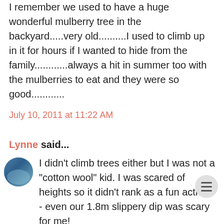I remember we used to have a huge wonderful mulberry tree in the backyard.....very old..........I used to climb up in it for hours if I wanted to hide from the family............always a hit in summer too with the mulberries to eat and they were so good............
July 10, 2011 at 11:22 AM
Lynne said...
[Figure (photo): Small circular avatar photo of a person with blue/teal tones]
I didn't climb trees either but I was not a "cotton wool" kid. I was scared of heights so it didn't rank as a fun activity - even our 1.8m slippery dip was scary for me!